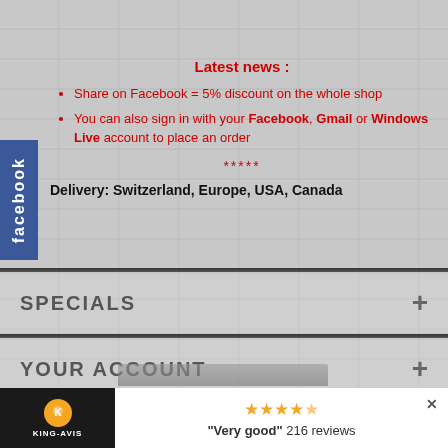Latest news :
Share on Facebook = 5% discount on the whole shop
You can also sign in with your Facebook, Gmail or Windows Live account to place an order
*****
Delivery: Switzerland, Europe, USA, Canada
SPECIALS
YOUR ACCOUNT
"Very good" 216 reviews